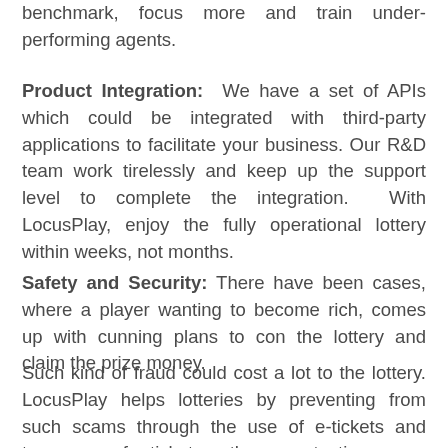benchmark, focus more and train under-performing agents.
Product Integration: We have a set of APIs which could be integrated with third-party applications to facilitate your business. Our R&D team work tirelessly and keep up the support level to complete the integration. With LocusPlay, enjoy the fully operational lottery within weeks, not months.
Safety and Security: There have been cases, where a player wanting to become rich, comes up with cunning plans to con the lottery and claim the prize money.
Such kind of fraud could cost a lot to the lottery. LocusPlay helps lotteries by preventing from such scams through the use of e-tickets and tamper-proof tickets, thus protecting your business